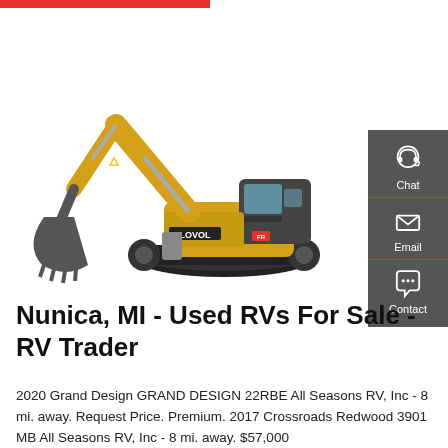[Figure (photo): Yellow Lovol crawler excavator on white background, with extended boom arm and bucket, cab on right side, tracked undercarriage]
[Figure (infographic): Gray sidebar with three contact options: Chat (headset icon), Email (envelope icon), Contact (speech bubble with dots icon), separated by red dividers]
Nunica, MI - Used RVs For Sale - RV Trader
2020 Grand Design GRAND DESIGN 22RBE All Seasons RV, Inc - 8 mi. away. Request Price. Premium. 2017 Crossroads Redwood 3901 MB All Seasons RV, Inc - 8 mi. away. $57,000